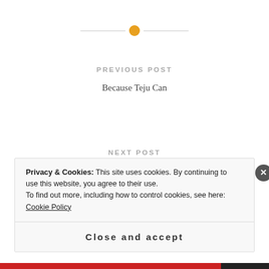[Figure (other): Horizontal divider with orange circle dot in center]
PREVIOUS POST
Because Teju Can
NEXT POST
TWI Empowerment: How to pack an Emergency Backpack if you are Domestic Violence Victim
Privacy & Cookies: This site uses cookies. By continuing to use this website, you agree to their use.
To find out more, including how to control cookies, see here: Cookie Policy
Close and accept